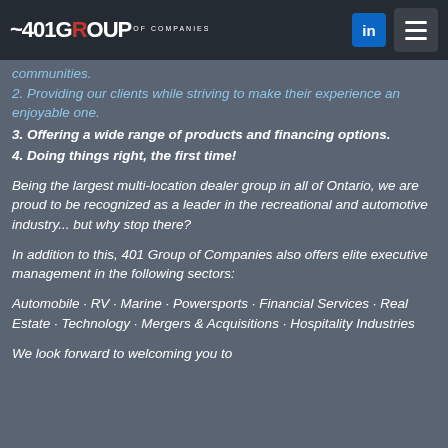401 GROUP OF COMPANIES
communities.
2. Providing our clients while striving to make their experience an enjoyable one.
3. Offering a wide range of products and financing options.
4. Doing things right, the first time!
Being the largest multi-location dealer group in all of Ontario, we are proud to be recognized as a leader in the recreational and automotive industry... but why stop there?
In addition to this, 401 Group of Companies also offers elite executive management in the following sectors:
Automobile · RV · Marine · Powersports · Financial Services · Real Estate · Technology · Mergers &amp; Acquisitions · Hospitality Industries
We look forward to welcoming you to